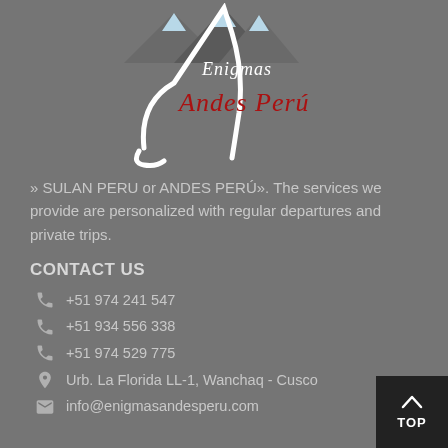[Figure (logo): Enigmas Andes Perú logo with mountain silhouette and cursive script text in white and red]
» SULAN PERU or ANDES PERÚ». The services we provide are personalized with regular departures and private trips.
CONTACT US
+51 974 241 547
+51 934 556 338
+51 974 529 775
Urb. La Florida LL-1, Wanchaq - Cusco
info@enigmasandesperu.com